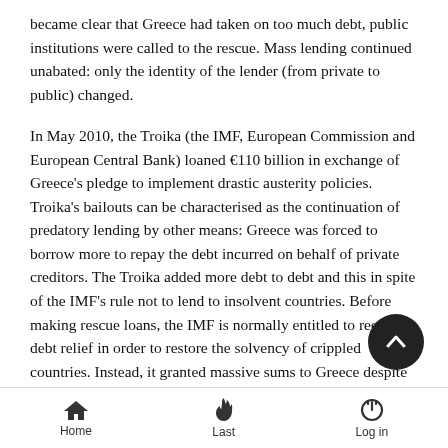became clear that Greece had taken on too much debt, public institutions were called to the rescue. Mass lending continued unabated: only the identity of the lender (from private to public) changed.
In May 2010, the Troika (the IMF, European Commission and European Central Bank) loaned €110 billion in exchange of Greece's pledge to implement drastic austerity policies. Troika's bailouts can be characterised as the continuation of predatory lending by other means: Greece was forced to borrow more to repay the debt incurred on behalf of private creditors. The Troika added more debt to debt and this in spite of the IMF's rule not to lend to insolvent countries. Before making rescue loans, the IMF is normally entitled to request debt relief in order to restore the solvency of crippled countries. Instead, it granted massive sums to Greece despite knowledge of her impossibility to repay. Studies have evidenced that IMF experts clearly perceived that Greek debt was unsustainable and that the country would not
Home   Last   Log in